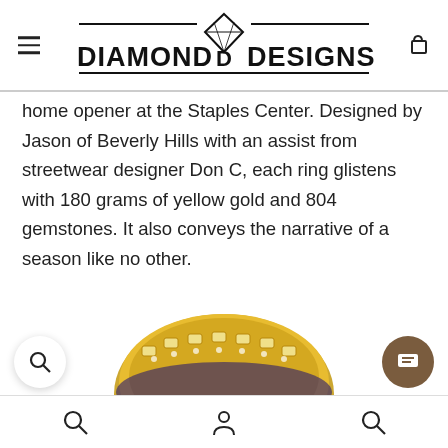DIAMOND DESIGNS
home opener at the Staples Center. Designed by Jason of Beverly Hills with an assist from streetwear designer Don C, each ring glistens with 180 grams of yellow gold and 804 gemstones. It also conveys the narrative of a season like no other.
[Figure (photo): Close-up of a championship ring adorned with yellow gold and gemstones, partially visible at the bottom of the page.]